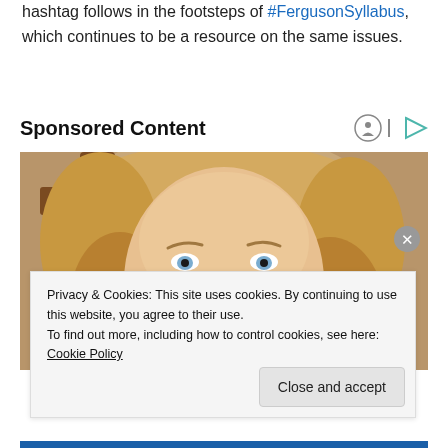hashtag follows in the footsteps of #FergusonSyllabus, which continues to be a resource on the same issues.
Sponsored Content
[Figure (photo): Close-up portrait photo of a blonde woman with curly hair and blue/green eyes looking upward, with a wooden cross visible in the background.]
Privacy & Cookies: This site uses cookies. By continuing to use this website, you agree to their use. To find out more, including how to control cookies, see here: Cookie Policy
Close and accept